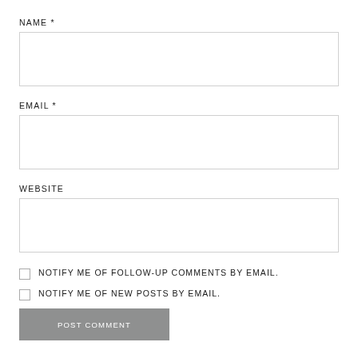NAME *
EMAIL *
WEBSITE
NOTIFY ME OF FOLLOW-UP COMMENTS BY EMAIL.
NOTIFY ME OF NEW POSTS BY EMAIL.
POST COMMENT